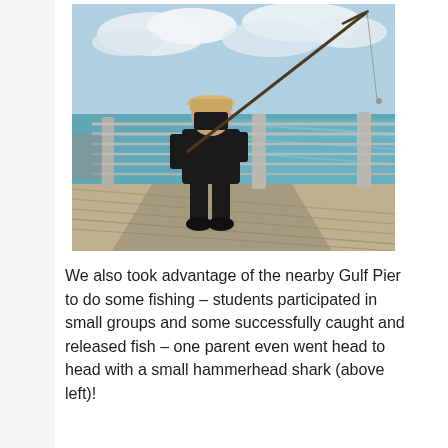[Figure (photo): A person wearing a black t-shirt, black shorts, and a hat, standing on a pier or boardwalk with metal railings, holding a bent fishing rod. The background shows a blue-green ocean and partly cloudy sky.]
We also took advantage of the nearby Gulf Pier to do some fishing – students participated in small groups and some successfully caught and released fish – one parent even went head to head with a small hammerhead shark (above left)!